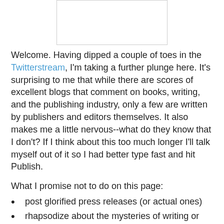[Figure (other): A white rectangular box with a light gray border, likely a placeholder image or photo.]
Welcome. Having dipped a couple of toes in the Twitterstream, I'm taking a further plunge here. It's surprising to me that while there are scores of excellent blogs that comment on books, writing, and the publishing industry, only a few are written by publishers and editors themselves. It also makes me a little nervous--what do they know that I don't? If I think about this too much longer I'll talk myself out of it so I had better type fast and hit Publish.
What I promise not to do on this page:
post glorified press releases (or actual ones)
rhapsodize about the mysteries of writing or the thrill of “discovering a new voice”
use the word “excited” or “exciting” more than once a month